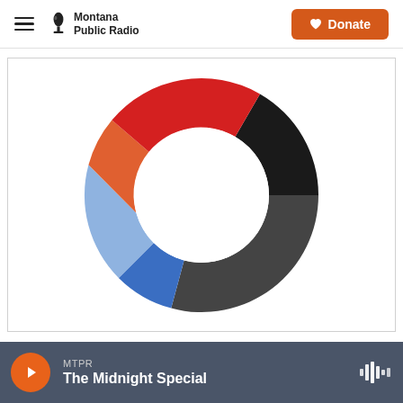Montana Public Radio | Donate
[Figure (donut-chart): A donut chart with four colored segments: black (top-right, large), dark gray (right, medium), blue (bottom-right, medium), light blue (bottom-left, medium), red (left and top-left, large), and orange-red (lower-left, small). White circle hole in the center.]
MTPR — The Midnight Special